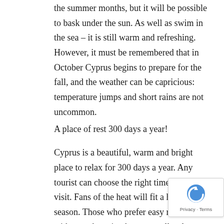the summer months, but it will be possible to bask under the sun. As well as swim in the sea – it is still warm and refreshing. However, it must be remembered that in October Cyprus begins to prepare for the fall, and the weather can be capricious: temperature jumps and short rains are not uncommon.
A place of rest 300 days a year!
Cyprus is a beautiful, warm and bright place to relax for 300 days a year. Any tourist can choose the right time for the visit. Fans of the heat will fit a high season. Those who prefer easy rest without exhausting heat, as well as lovers of comfortable excursions like the low season in early spring. Well, tourists who are accustomed to taking the rest to the maximum, will appreciate the velvet season! Choose a convenient and comfortable season for you. Cyprus is open to guests at any time of the year!